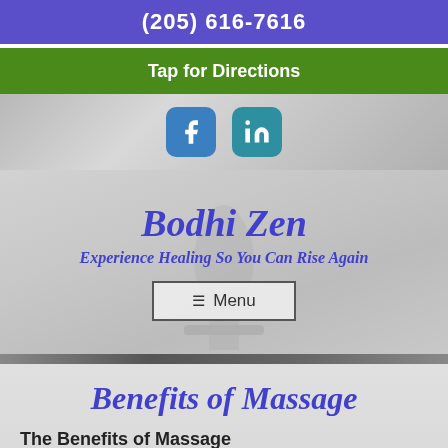(205) 616-7616
Tap for Directions
[Figure (logo): Facebook and LinkedIn social media icons]
Bodhi Zen
Experience Healing So You Can Rise Again
≡ Menu
Benefits of Massage
The Benefits of Massage
The Muscular System